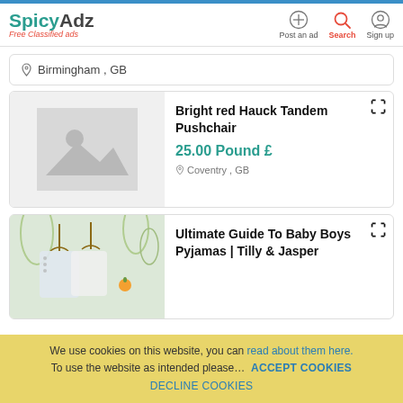SpicyAdz – Free Classified Ads | Post an ad | Search | Sign up
Birmingham , GB
Bright red Hauck Tandem Pushchair
25.00 Pound £
Coventry , GB
[Figure (photo): Placeholder image thumbnail for listing (grey background with mountain/image icon)]
Ultimate Guide To Baby Boys Pyjamas | Tilly & Jasper
[Figure (photo): Photo showing children's clothing on hangers with decorative background]
We use cookies on this website, you can read about them here. To use the website as intended please… ACCEPT COOKIES DECLINE COOKIES